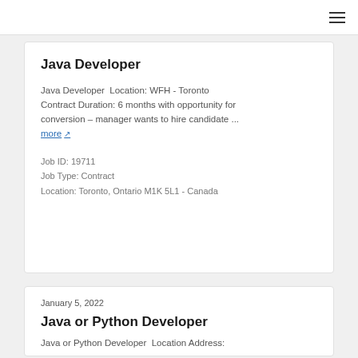≡
Java Developer
Java Developer  Location: WFH - Toronto Contract Duration: 6 months with opportunity for conversion – manager wants to hire candidate ... more ↗
Job ID: 19711
Job Type: Contract
Location: Toronto, Ontario M1K 5L1 - Canada
January 5, 2022
Java or Python Developer
Java or Python Developer  Location Address: